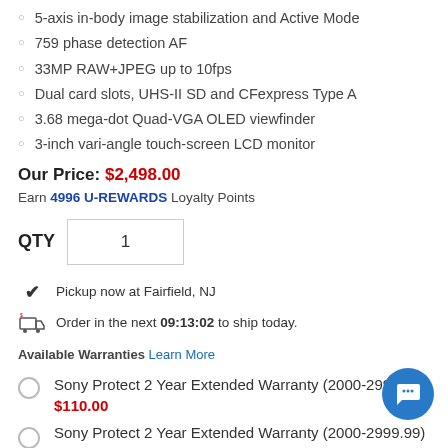5-axis in-body image stabilization and Active Mode
759 phase detection AF
33MP RAW+JPEG up to 10fps
Dual card slots, UHS-II SD and CFexpress Type A
3.68 mega-dot Quad-VGA OLED viewfinder
3-inch vari-angle touch-screen LCD monitor
Our Price: $2,498.00
Earn 4996 U-REWARDS Loyalty Points
QTY 1
Pickup now at Fairfield, NJ
Order in the next 09:13:02 to ship today.
Available Warranties Learn More
Sony Protect 2 Year Extended Warranty (2000-2999.99)
$110.00
Sony Protect 2 Year Extended Warranty (2000-2999.99)